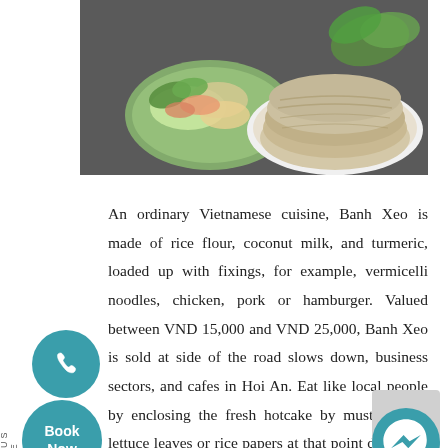[Figure (photo): Two plates of Vietnamese food: Banh Xeo (sizzling cake/pancake) on a plate on the right, and fresh vegetables and wrapped items on the left, on a dark surface.]
An ordinary Vietnamese cuisine, Banh Xeo is made of rice flour, coconut milk, and turmeric, loaded up with fixings, for example, vermicelli noodles, chicken, pork or hamburger. Valued between VND 15,000 and VND 25,000, Banh Xeo is sold at side of the road slows down, business sectors, and cafes in Hoi An. Eat like local people by enclosing the fresh hotcake by mustard leaf, lettuce leaves or rice papers at that point dunk it in aged nut sauce. You can enjoy this delicious dish on an afternoon walk in Hoi An